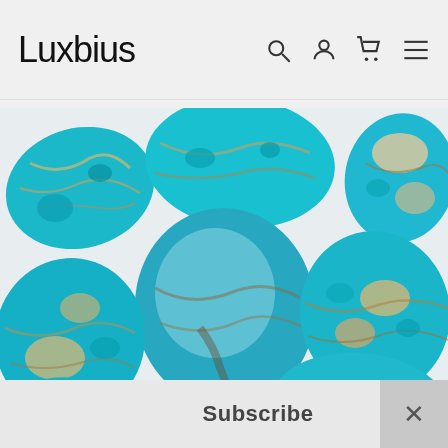Luxbius
[Figure (photo): Multiple turquoise stones with brown and beige matrix veining scattered on a white background]
Subscribe